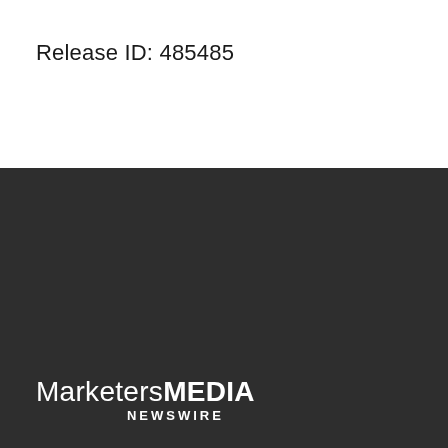Release ID: 485485
[Figure (logo): MarketersMEDIA NEWSWIRE logo in white text on dark background]
[Figure (illustration): Two G2 High Performer badges: Fall 2021 and Winter 2022]
Terms of services | Privacy policy
Copyright © 2012 - 2022 MarketersMEDIA Newswire – Press Release Distribution Services – News Release Distribution Services. All Rights Reserved.